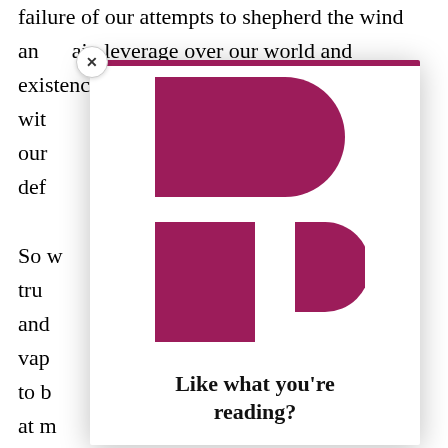failure of our attempts to shepherd the wind and gain leverage over our world and existence with our nt def
So w tru and as vap ed to b s at m , we n and
[Figure (logo): A modal popup with a close (X) button in the top-left corner, containing a dark magenta/maroon logo composed of a large rectangle with a D-shape on the right for the top part, and a tall rectangle plus a smaller D-shape for the bottom part, forming a stylized 'P' or publication logo. Below the logo text reads: Like what you're reading?]
Like what you're reading?